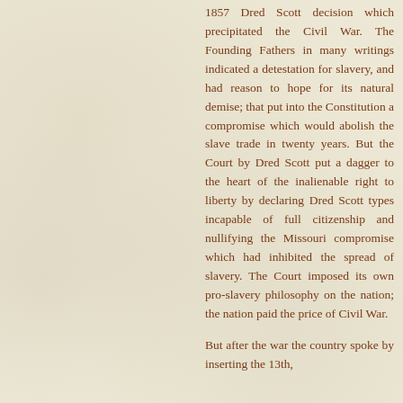1857 Dred Scott decision which precipitated the Civil War. The Founding Fathers in many writings indicated a detestation for slavery, and had reason to hope for its natural demise; that put into the Constitution a compromise which would abolish the slave trade in twenty years. But the Court by Dred Scott put a dagger to the heart of the inalienable right to liberty by declaring Dred Scott types incapable of full citizenship and nullifying the Missouri compromise which had inhibited the spread of slavery. The Court imposed its own pro-slavery philosophy on the nation; the nation paid the price of Civil War.
But after the war the country spoke by inserting the 13th,